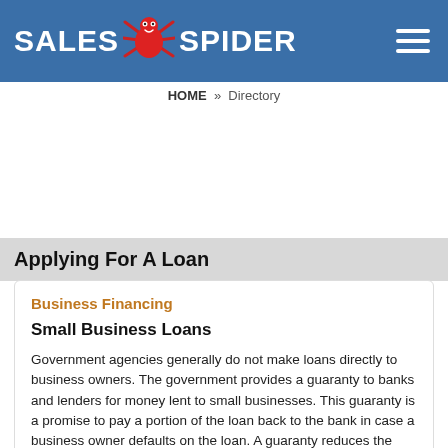SALES SPIDER
HOME » Directory
Applying For A Loan
Business Financing
Small Business Loans
Government agencies generally do not make loans directly to business owners. The government provides a guaranty to banks and lenders for money lent to small businesses. This guaranty is a promise to pay a portion of the loan back to the bank in case a business owner defaults on the loan. A guaranty reduces the lender's risk, which allows the lender to make loans to business owners who do not qualify for traditional loans.
So, the first place to start looking for a loan is with your local commercial